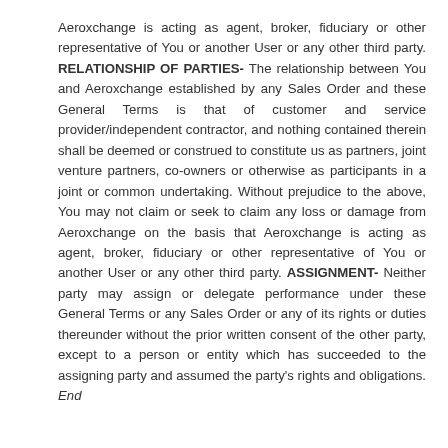Aeroxchange is acting as agent, broker, fiduciary or other representative of You or another User or any other third party. RELATIONSHIP OF PARTIES- The relationship between You and Aeroxchange established by any Sales Order and these General Terms is that of customer and service provider/independent contractor, and nothing contained therein shall be deemed or construed to constitute us as partners, joint venture partners, co-owners or otherwise as participants in a joint or common undertaking. Without prejudice to the above, You may not claim or seek to claim any loss or damage from Aeroxchange on the basis that Aeroxchange is acting as agent, broker, fiduciary or other representative of You or another User or any other third party. ASSIGNMENT- Neither party may assign or delegate performance under these General Terms or any Sales Order or any of its rights or duties thereunder without the prior written consent of the other party, except to a person or entity which has succeeded to the assigning party and assumed the party's rights and obligations. End